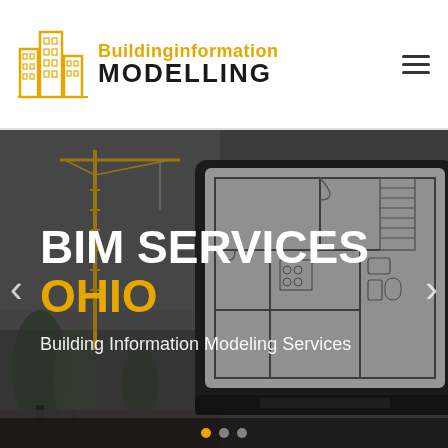[Figure (logo): Building Information Modelling logo with gold building icon and text 'Buildinginformation MODELLING']
[Figure (screenshot): Hero banner image showing a dark-themed photo of a construction site with a crane and trees on the left, and a laptop displaying a floor plan blueprint on the right. Overlaid text reads 'BIM SERVICES OHIO' in bold white and orange, with subtitle 'Building Information Modeling Services'. Navigation arrows on left and right. Slide indicator dots at bottom.]